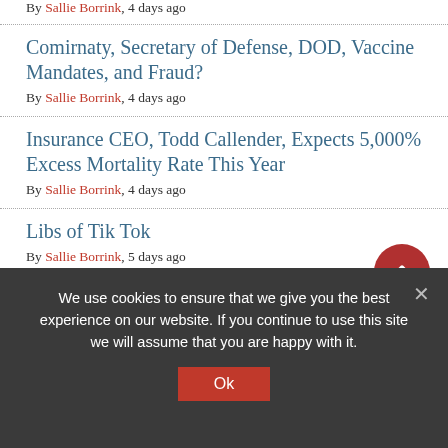By Sallie Borrink, 4 days ago
Comirnaty, Secretary of Defense, DOD, Vaccine Mandates, and Fraud? By Sallie Borrink, 4 days ago
Insurance CEO, Todd Callender, Expects 5,000% Excess Mortality Rate This Year By Sallie Borrink, 4 days ago
Libs of Tik Tok By Sallie Borrink, 5 days ago
Where Are All The Workers? By Sallie Borrink, 5 days ago
Inside The Pro-Covid Vax Mindset – Deference To
We use cookies to ensure that we give you the best experience on our website. If you continue to use this site we will assume that you are happy with it. Ok